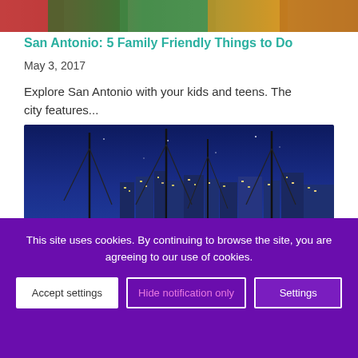[Figure (photo): Partial top of a colorful image, cropped at the top of the page]
San Antonio: 5 Family Friendly Things to Do
May 3, 2017
Explore San Antonio with your kids and teens. The city features...
[Figure (photo): Night photo of a marina with sailboat masts in foreground and a city skyline with lit buildings reflected in the water under a deep blue sky]
This site uses cookies. By continuing to browse the site, you are agreeing to our use of cookies.
Accept settings | Hide notification only | Settings